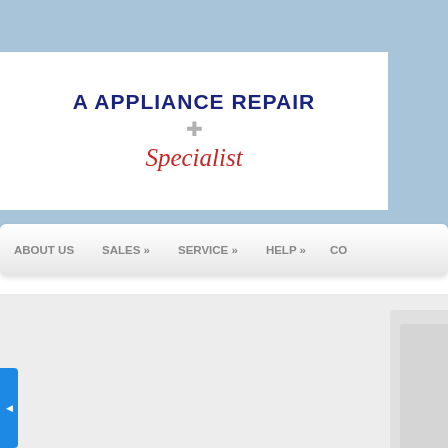[Figure (screenshot): Website header with light blue background]
A APPLIANCE REPAIR Specialist
[Figure (screenshot): Navigation bar with menu items: ABOUT US, SALES », SERVICE », HELP », CO...]
[Figure (screenshot): Website content area with light gray background, blue sidebar button, and right panel with large letter E icon]